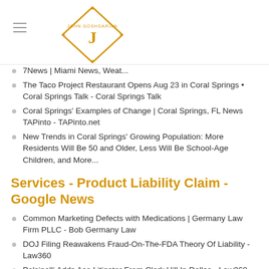John Goshgarian Law Firm - Logo and Navigation
7News | Miami News, Weat...
The Taco Project Restaurant Opens Aug 23 in Coral Springs • Coral Springs Talk - Coral Springs Talk
Coral Springs' Examples of Change | Coral Springs, FL News TAPinto - TAPinto.net
New Trends in Coral Springs' Growing Population: More Residents Will Be 50 and Older, Less Will Be School-Age Children, and More...
Services - Product Liability Claim - Google News
Common Marketing Defects with Medications | Germany Law Firm PLLC - Bob Germany Law
DOJ Filing Reawakens Fraud-On-The-FDA Theory Of Liability - Law360
Polsinelli Adds Ace Litigator From Clark Hill In Dallas - Law360